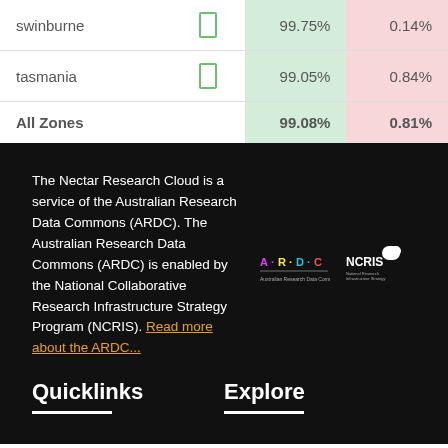|  |  | Uptime | Downtime |
| --- | --- | --- | --- |
| swinburne | [] | 99.75% | 0.14% |
| tasmania | [] | 99.05% | 0.84% |
| All Zones |  | 99.08% | 0.81% |
The Nectar Research Cloud is a service of the Australian Research Data Commons (ARDC). The Australian Research Data Commons (ARDC) is enabled by the National Collaborative Research Infrastructure Strategy Program (NCRIS). Read more about the ARDC...
[Figure (logo): ARDC and NCRIS logos side by side on dark background]
Quicklinks
Explore